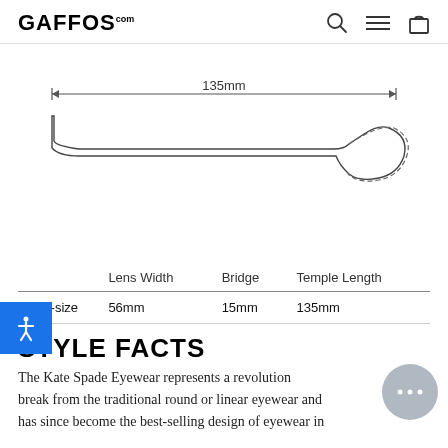GAFFOS.com
[Figure (engineering-diagram): Side-view schematic of an eyeglass temple arm showing overall length measurement of 135mm with a double-headed arrow. The temple has a flat rectangular body tapering to a curved ear piece at the right end, indicated with a dashed outline.]
|  | Lens Width | Bridge | Temple Length |
| --- | --- | --- | --- |
| One-size | 56mm | 15mm | 135mm |
STYLE FACTS
The Kate Spade Eyewear represents a revolutionary break from the traditional round or linear eyewear and has since become the best-selling design of eyewear in